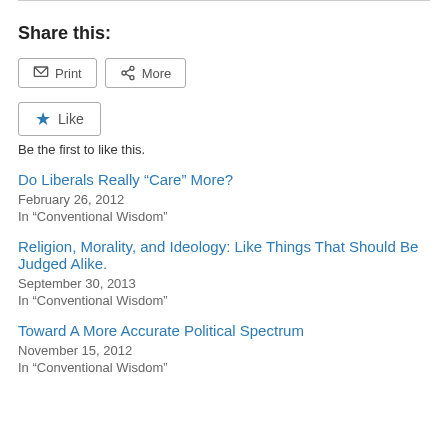Share this:
Print  More
Like  Be the first to like this.
Do Liberals Really “Care” More?
February 26, 2012
In “Conventional Wisdom”
Religion, Morality, and Ideology: Like Things That Should Be Judged Alike.
September 30, 2013
In “Conventional Wisdom”
Toward A More Accurate Political Spectrum
November 15, 2012
In “Conventional Wisdom”